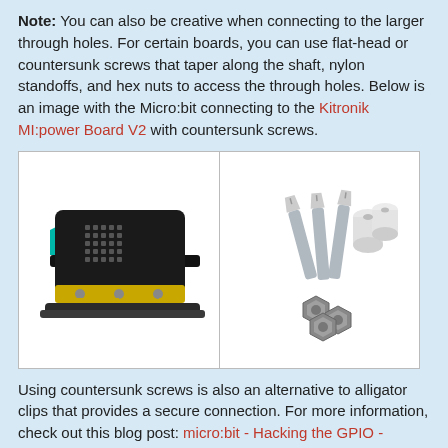Note: You can also be creative when connecting to the larger through holes. For certain boards, you can use flat-head or countersunk screws that taper along the shaft, nylon standoffs, and hex nuts to access the through holes. Below is an image with the Micro:bit connecting to the Kitronik MI:power Board V2 with countersunk screws.
[Figure (photo): Two-panel image: left panel shows a Micro:bit board connected to a black base board (Kitronik MI:power Board V2) with gold edge connectors visible; right panel shows countersunk screws, nylon standoffs, and hex nuts on a white background.]
Using countersunk screws is also an alternative to alligator clips that provides a secure connection. For more information, check out this blog post: micro:bit - Hacking the GPIO - Updated!